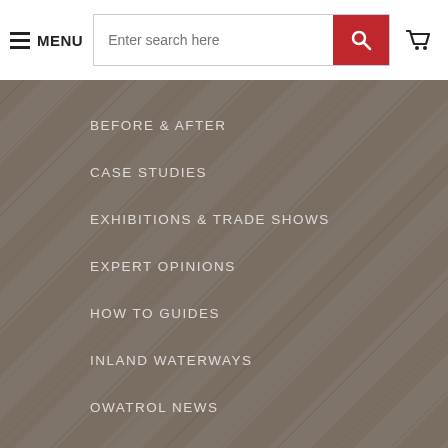MENU | Enter search here [search] [cart]
BEFORE & AFTER
CASE STUDIES
EXHIBITIONS & TRADE SHOWS
EXPERT OPINIONS
HOW TO GUIDES
INLAND WATERWAYS
OWATROL NEWS
PRODUCT SPOTLIGHT